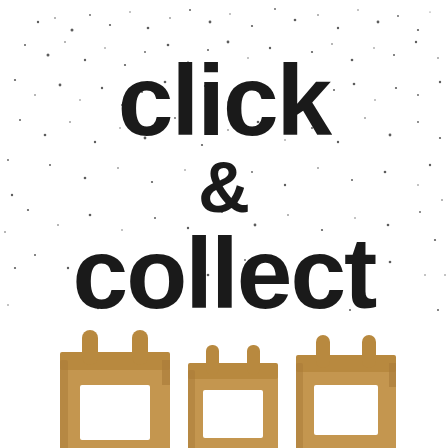[Figure (illustration): Promotional graphic with hand-drawn bold bubble-letter text reading 'click & collect' on a white background with black ink splatter texture, and three brown paper shopping bags illustrated at the bottom.]